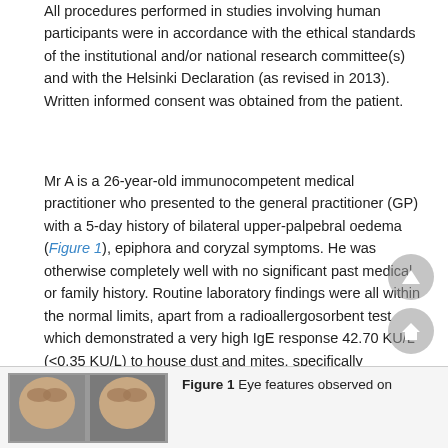All procedures performed in studies involving human participants were in accordance with the ethical standards of the institutional and/or national research committee(s) and with the Helsinki Declaration (as revised in 2013). Written informed consent was obtained from the patient.
Mr A is a 26-year-old immunocompetent medical practitioner who presented to the general practitioner (GP) with a 5-day history of bilateral upper-palpebral oedema (Figure 1), epiphora and coryzal symptoms. He was otherwise completely well with no significant past medical or family history. Routine laboratory findings were all within the normal limits, apart from a radioallergosorbent test which demonstrated a very high IgE response 42.70 KU/L (<0.35 KU/L) to house dust and mites, specifically Dermatophagoides pteronyssinus. He was subsequently diagnosed with allergic rhinitis and was recommended to use fexofenadine 180 mg daily and antihistamine eye drops twice daily.
[Figure (photo): Photo of patient's eye features showing bilateral upper-palpebral oedema]
Figure 1 Eye features observed on